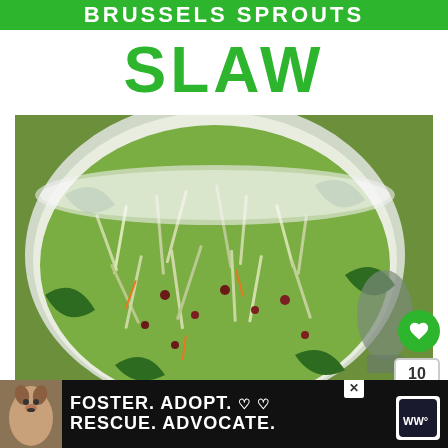BRUSSELS SPROUTS
SLAW
[Figure (photo): Close-up photo of Brussels sprouts slaw salad in a white bowl with shredded greens, dried cranberries, and carrots. Green interactive buttons on right side: heart icon with count 10 and share icon.]
[Figure (photo): Advertisement banner at bottom with dark background showing a dog and text: FOSTER. ADOPT. RESCUE. ADVOCATE. with heart symbols]